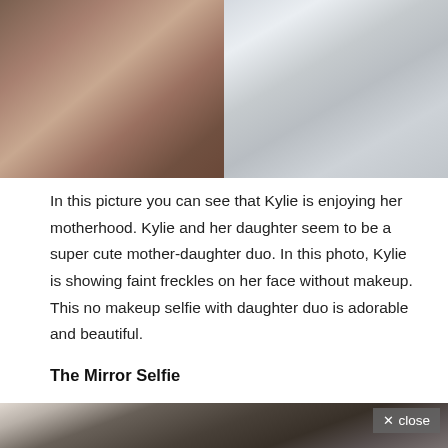[Figure (photo): Two photos side by side: left shows Kylie with a baby close up, right shows a newborn baby wrapped in white blanket]
In this picture you can see that Kylie is enjoying her motherhood. Kylie and her daughter seem to be a super cute mother-daughter duo. In this photo, Kylie is showing faint freckles on her face without makeup. This no makeup selfie with daughter duo is adorable and beautiful.
The Mirror Selfie
[Figure (photo): Mirror selfie of a young woman with dark hair holding an iPhone, with a dark background and a close button overlay in the bottom right]